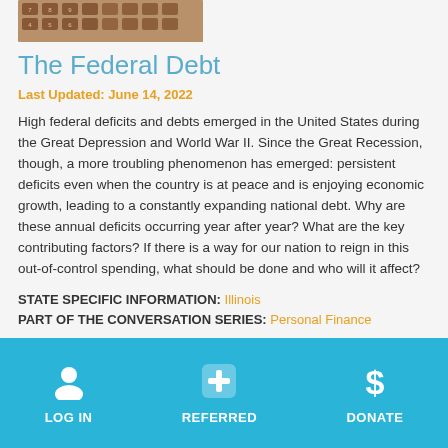[Figure (photo): Partial view of a calculator keyboard with brown/tan keys]
The Federal Debt
Last Updated: June 14, 2022
High federal deficits and debts emerged in the United States during the Great Depression and World War II. Since the Great Recession, though, a more troubling phenomenon has emerged: persistent deficits even when the country is at peace and is enjoying economic growth, leading to a constantly expanding national debt. Why are these annual deficits occurring year after year? What are the key contributing factors? If there is a way for our nation to reign in this out-of-control spending, what should be done and who will it affect?
STATE SPECIFIC INFORMATION: Illinois
PART OF THE CONVERSATION SERIES: Personal Finance Series, The Foundation Series
LOG IN | REFERRED | DONATE